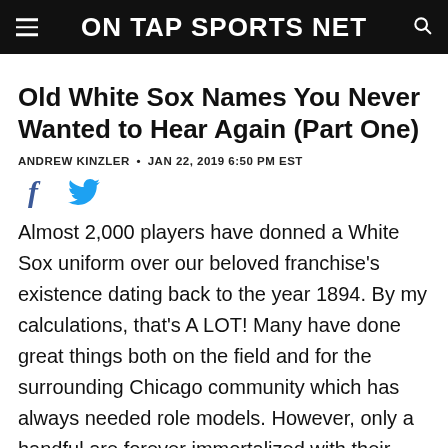ON TAP SPORTS NET
Old White Sox Names You Never Wanted to Hear Again (Part One)
ANDREW KINZLER • JAN 22, 2019 6:50 PM EST
[Figure (other): Facebook and Twitter social sharing icons]
Almost 2,000 players have donned a White Sox uniform over our beloved franchise's existence dating back to the year 1894. By my calculations, that's A LOT! Many have done great things both on the field and for the surrounding Chicago community which has always needed role models. However, only a handful are forever immortalized with their jersey